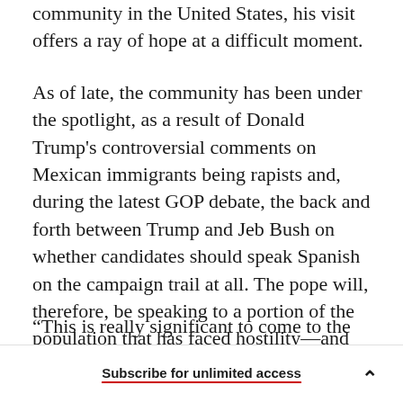community in the United States, his visit offers a ray of hope at a difficult moment.
As of late, the community has been under the spotlight, as a result of Donald Trump's controversial comments on Mexican immigrants being rapists and, during the latest GOP debate, the back and forth between Trump and Jeb Bush on whether candidates should speak Spanish on the campaign trail at all. The pope will, therefore, be speaking to a portion of the population that has faced hostility—and that matters.
“This is really significant to come to the U.S. and
Subscribe for unlimited access